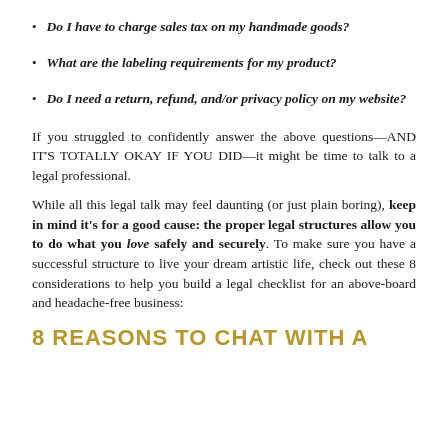Do I have to charge sales tax on my handmade goods?
What are the labeling requirements for my product?
Do I need a return, refund, and/or privacy policy on my website?
If you struggled to confidently answer the above questions—AND IT'S TOTALLY OKAY IF YOU DID—it might be time to talk to a legal professional.
While all this legal talk may feel daunting (or just plain boring), keep in mind it's for a good cause: the proper legal structures allow you to do what you love safely and securely. To make sure you have a successful structure to live your dream artistic life, check out these 8 considerations to help you build a legal checklist for an above-board and headache-free business:
8 REASONS TO CHAT WITH A